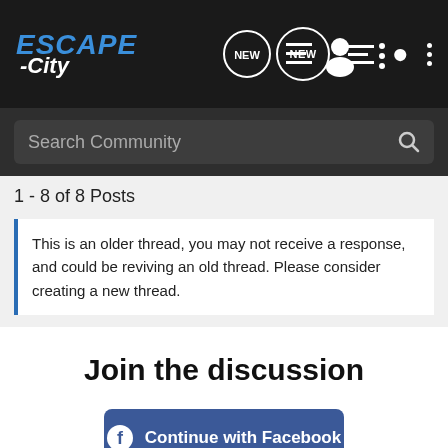ESCAPE-City navigation bar with logo, NEW bubble, list icon, user icon, dots icon
Search Community
1 - 8 of 8 Posts
This is an older thread, you may not receive a response, and could be reviving an old thread. Please consider creating a new thread.
Join the discussion
Continue with Facebook
Continue with Google
or sign up with email